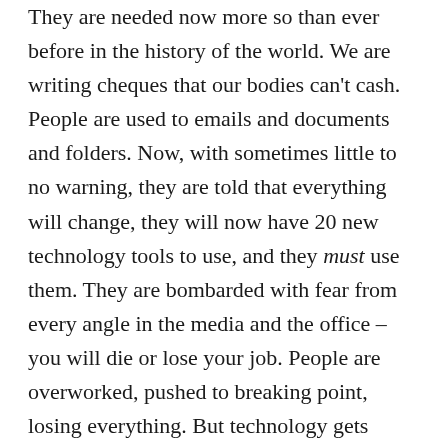They are needed now more so than ever before in the history of the world. We are writing cheques that our bodies can't cash. People are used to emails and documents and folders. Now, with sometimes little to no warning, they are told that everything will change, they will now have 20 new technology tools to use, and they must use them. They are bombarded with fear from every angle in the media and the office – you will die or lose your job. People are overworked, pushed to breaking point, losing everything. But technology gets steamrolled into businesses without another thought as to the impact on the human beings working there. How